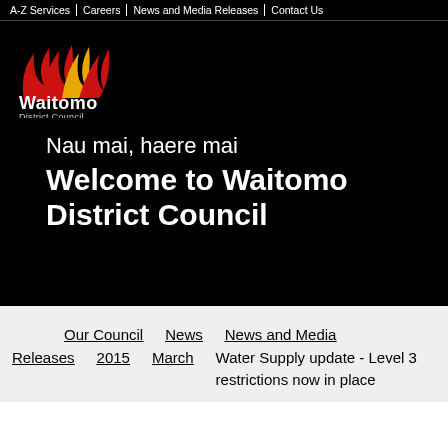A-Z Services | Careers | News and Media Releases | Contact Us
[Figure (logo): Waitomo District Council logo with red and yellow flame/wave design above the text 'Waitomo District Council' in white on black background]
Nau mai, haere mai
Welcome to Waitomo District Council
Our Council  News  News and Media Releases  2015  March  Water Supply update - Level 3 restrictions now in place